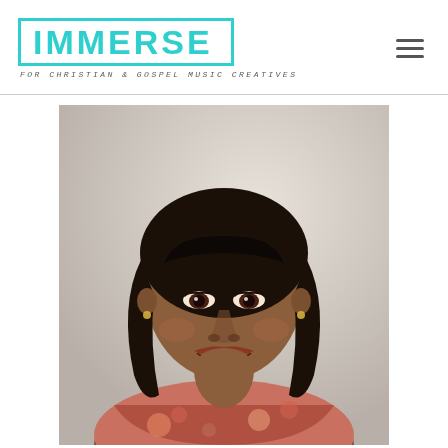[Figure (logo): IMMERSE logo — cyan/turquoise bold text in a cyan rectangle border, with tagline 'FOR CHRISTIAN & GOSPEL MUSIC CREATIVES' below in small caps monospace]
[Figure (photo): Portrait photo of a smiling African-American woman with black layered hair with bangs, wearing a floral top in pink/red tones, photographed against a light gray/beige background]